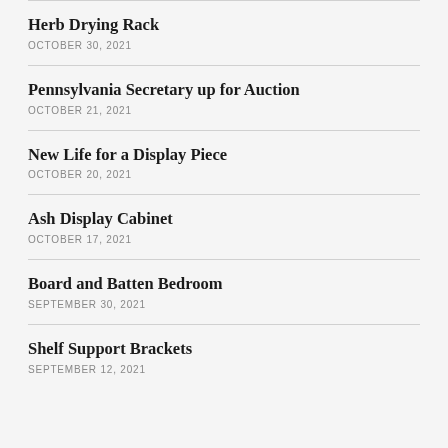Herb Drying Rack
OCTOBER 30, 2021
Pennsylvania Secretary up for Auction
OCTOBER 21, 2021
New Life for a Display Piece
OCTOBER 20, 2021
Ash Display Cabinet
OCTOBER 17, 2021
Board and Batten Bedroom
SEPTEMBER 30, 2021
Shelf Support Brackets
SEPTEMBER 12, 2021